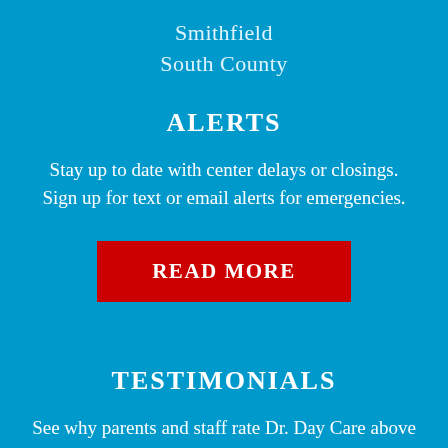Smithfield
South County
ALERTS
Stay up to date with center delays or closings. Sign up for text or email alerts for emergencies.
READ MORE
TESTIMONIALS
See why parents and staff rate Dr. Day Care above the rest. Chose a center trusted by families!
READ MORE